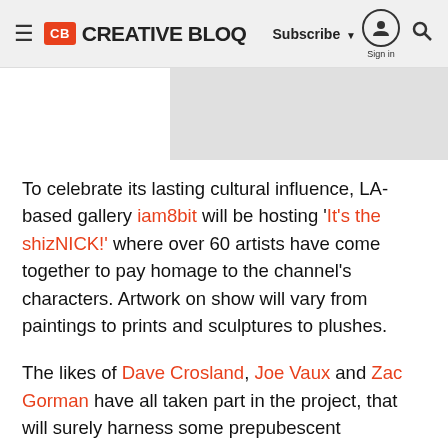CB CREATIVE BLOQ | Subscribe | Sign in | Search
[Figure (photo): Partial image placeholder, light grey rectangle visible at top center-right of page]
To celebrate its lasting cultural influence, LA-based gallery iam8bit will be hosting 'It's the shizNICK!' where over 60 artists have come together to pay homage to the channel's characters. Artwork on show will vary from paintings to prints and sculptures to plushes.
The likes of Dave Crosland, Joe Vaux and Zac Gorman have all taken part in the project, that will surely harness some prepubescent memories. The show opens on Friday, April 19th and will run until Wednesday, May 1st. Head to Facebook to RSVP to